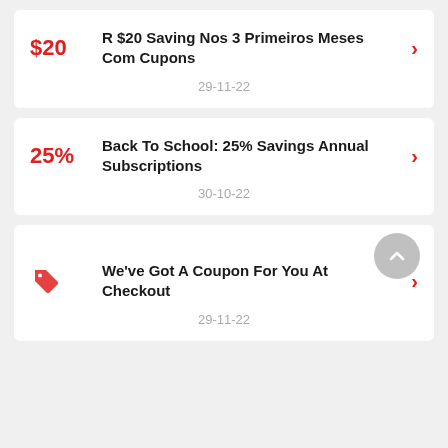$20 | R $20 Saving Nos 3 Primeiros Meses Com Cupons | 29-11-22
25% | Back To School: 25% Savings Annual Subscriptions | 30-10-22
[tag icon] | We've Got A Coupon For You At Checkout | 29-11-22